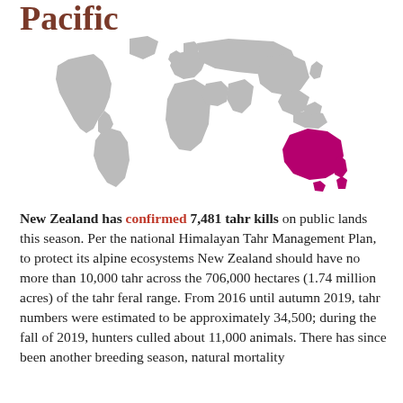Pacific
[Figure (map): World map in light grey with Australia and New Zealand highlighted in magenta/pink, showing the location of the Pacific region.]
New Zealand has confirmed 7,481 tahr kills on public lands this season. Per the national Himalayan Tahr Management Plan, to protect its alpine ecosystems New Zealand should have no more than 10,000 tahr across the 706,000 hectares (1.74 million acres) of the tahr feral range. From 2016 until autumn 2019, tahr numbers were estimated to be approximately 34,500; during the fall of 2019, hunters culled about 11,000 animals. There has since been another breeding season, natural mortality